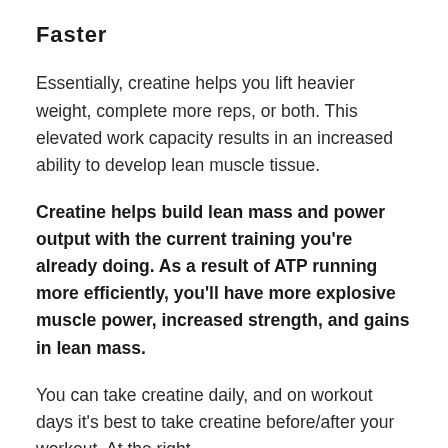Faster
Essentially, creatine helps you lift heavier weight, complete more reps, or both. This elevated work capacity results in an increased ability to develop lean muscle tissue.
Creatine helps build lean mass and power output with the current training you're already doing. As a result of ATP running more efficiently, you'll have more explosive muscle power, increased strength, and gains in lean mass.
You can take creatine daily, and on workout days it's best to take creatine before/after your workout. At the right